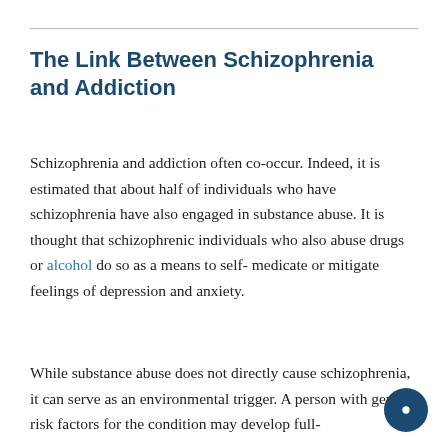The Link Between Schizophrenia and Addiction
Schizophrenia and addiction often co-occur. Indeed, it is estimated that about half of individuals who have schizophrenia have also engaged in substance abuse. It is thought that schizophrenic individuals who also abuse drugs or alcohol do so as a means to self-medicate or mitigate feelings of depression and anxiety.
While substance abuse does not directly cause schizophrenia, it can serve as an environmental trigger. A person with genetic risk factors for the condition may develop full-